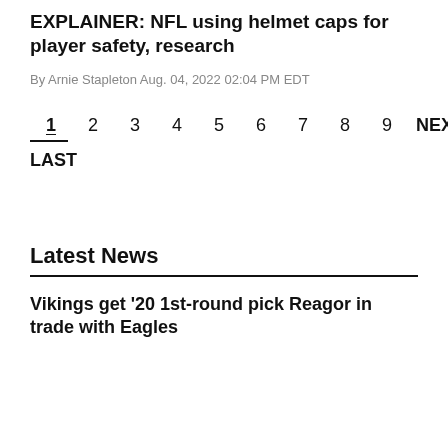EXPLAINER: NFL using helmet caps for player safety, research
By Arnie Stapleton Aug. 04, 2022 02:04 PM EDT
1  2  3  4  5  6  7  8  9  NEXT
LAST
Latest News
Vikings get '20 1st-round pick Reagor in trade with Eagles